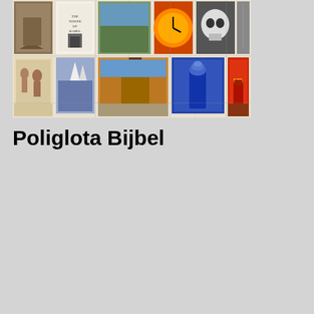[Figure (illustration): A collage of many book covers and artworks related to the Tower of Babel theme, including paintings, illustrations, and book covers in various colors showing towers, biblical scenes, and related imagery.]
Poliglota Bijbel